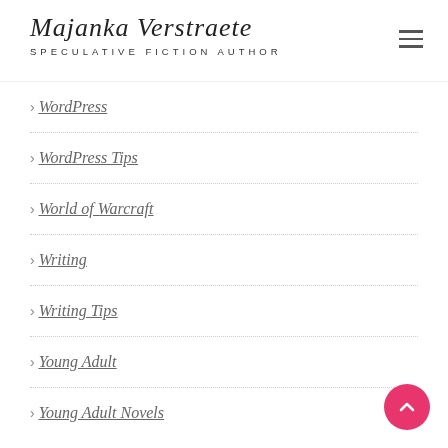Majanka Verstraete — SPECULATIVE FICTION AUTHOR
> WordPress
> WordPress Tips
> World of Warcraft
> Writing
> Writing Tips
> Young Adult
> Young Adult Novels